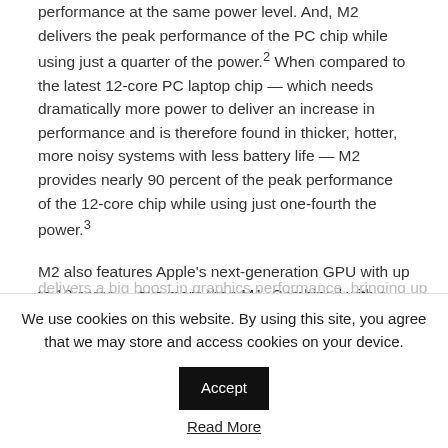performance at the same power level. And, M2 delivers the peak performance of the PC chip while using just a quarter of the power.2 When compared to the latest 12-core PC laptop chip — which needs dramatically more power to deliver an increase in performance and is therefore found in thicker, hotter, more noisy systems with less battery life — M2 provides nearly 90 percent of the peak performance of the 12-core chip while using just one-fourth the power.3
M2 also features Apple's next-generation GPU with up to 10 cores — two more than M1. Combined with a larger cache and higher memory bandwidth, the 10-core GPU delivers a big boost in graphics performance, bringing up
We use cookies on this website. By using this site, you agree that we may store and access cookies on your device.
Accept
Read More